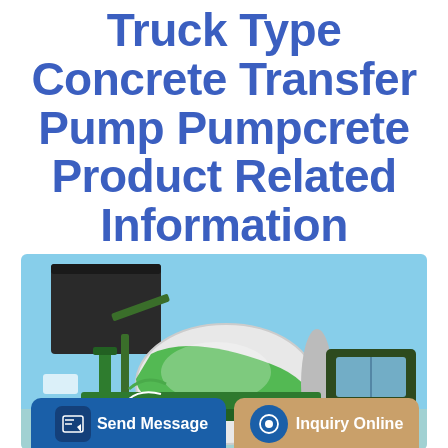Truck Type Concrete Transfer Pump Pumpcrete Product Related Information
[Figure (photo): Photograph of a truck-type concrete mixer/transfer pump (Pumpcrete) showing a green concrete mixer drum and truck cab against a blue sky background]